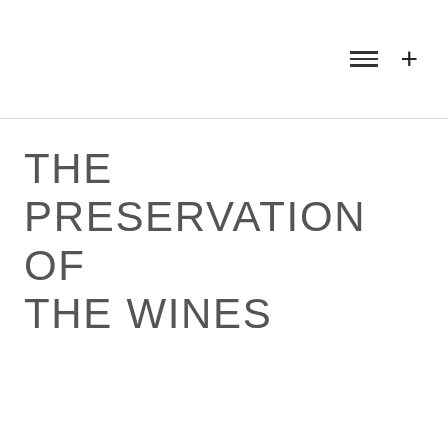≡  +
THE PRESERVATION OF THE WINES